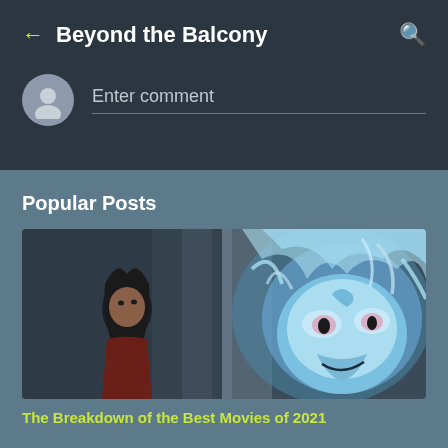Beyond the Balcony
Enter comment
Popular Posts
[Figure (photo): Animated film scene showing a young woman with dark hair facing a large glowing blue dragon-like creature, from 'Raya and the Last Dragon']
The Breakdown of the Best Movies of 2021